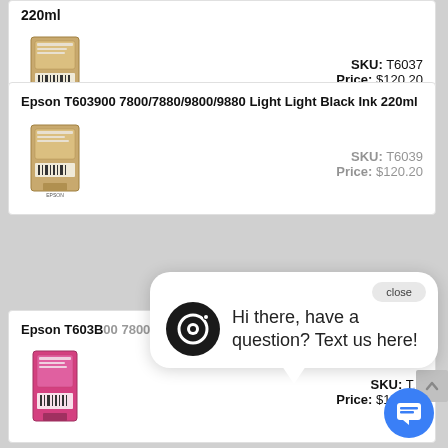220ml
[Figure (photo): Epson ink cartridge product image, tan/beige colored cartridge]
SKU: T6037
Price: $120.20
Epson T603900 7800/7880/9800/9880 Light Light Black Ink 220ml
[Figure (photo): Epson ink cartridge product image, tan/beige colored cartridge]
SKU: T6039
Price: $120.20
Epson T603B00 7800/9800 Magenta Ink 220ml
[Figure (photo): Epson ink cartridge product image, magenta colored cartridge]
SKU: T...
Price: $120.20
Hi there, have a question? Text us here!